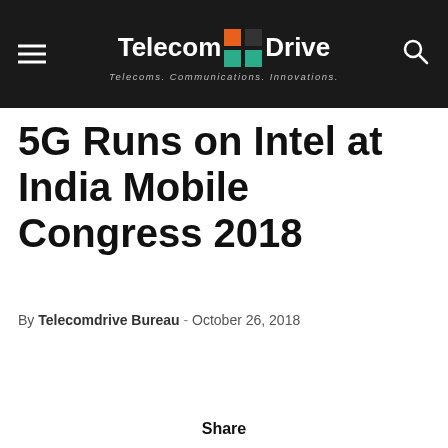Telecom Drive — Telecoms. Communications. Innovations.
5G Runs on Intel at India Mobile Congress 2018
By Telecomdrive Bureau - October 26, 2018
Share